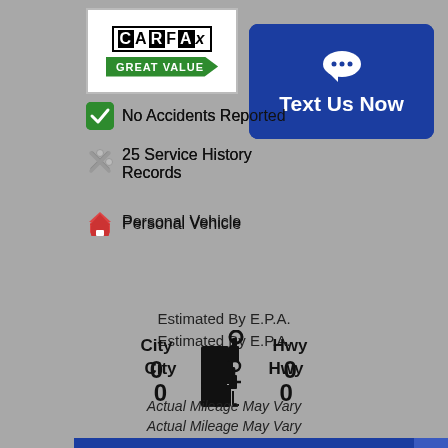[Figure (logo): CARFAX Great Value logo with checkered C and green arrow badge]
[Figure (other): Text Us Now button with chat bubble icon, dark blue]
No Accidents Reported
25 Service History Records
Personal Vehicle
Estimated By E.P.A.
City 0   Hwy 0
Actual Mileage May Vary
Photos (25)
Options
Text Us